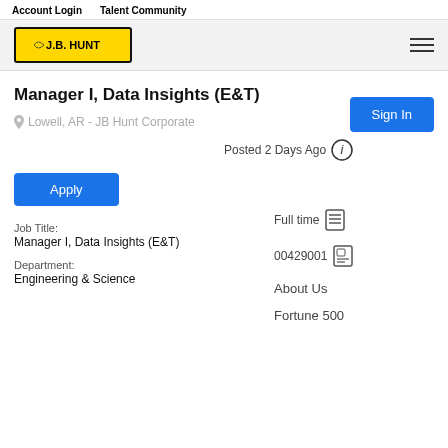Account Login   Talent Community
[Figure (logo): J.B. Hunt logo in yellow rectangle with black border]
Manager I, Data Insights (E&T)
Lowell, AR - JB Hunt Corporate
Posted 2 Days Ago
Sign In
Apply
Full time
00429001
Job Title:
Manager I, Data Insights (E&T)
About Us
Department:
Engineering & Science
Fortune 500